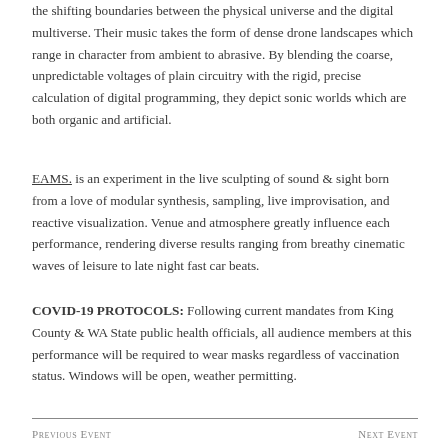the shifting boundaries between the physical universe and the digital multiverse. Their music takes the form of dense drone landscapes which range in character from ambient to abrasive. By blending the coarse, unpredictable voltages of plain circuitry with the rigid, precise calculation of digital programming, they depict sonic worlds which are both organic and artificial.
EAMS. is an experiment in the live sculpting of sound & sight born from a love of modular synthesis, sampling, live improvisation, and reactive visualization. Venue and atmosphere greatly influence each performance, rendering diverse results ranging from breathy cinematic waves of leisure to late night fast car beats.
COVID-19 PROTOCOLS: Following current mandates from King County & WA State public health officials, all audience members at this performance will be required to wear masks regardless of vaccination status. Windows will be open, weather permitting.
Previous Event    Next Event